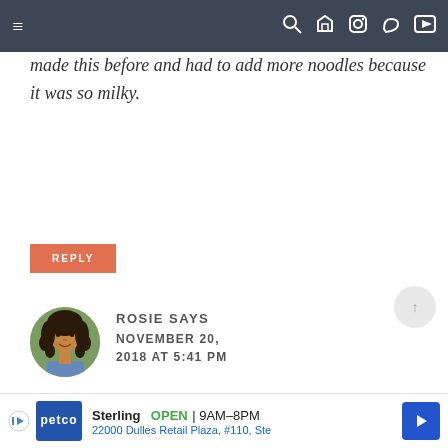≡  🔍 f 📷 𝗽 ▶
made this before and had to add more noodles because it was so milky.
REPLY
[Figure (photo): Profile photo of Rosie, a woman with curly hair]
ROSIE SAYS NOVEMBER 20, 2018 AT 5:41 PM
The recipe is listed.
[Figure (infographic): Petco advertisement: Sterling OPEN 9AM-8PM, 22000 Dulles Retail Plaza, #110, Ste]